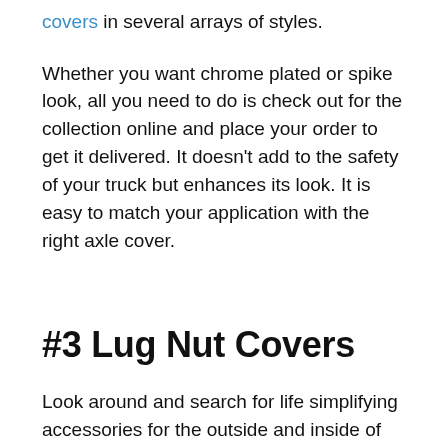covers in several arrays of styles.
Whether you want chrome plated or spike look, all you need to do is check out for the collection online and place your order to get it delivered. It doesn't add to the safety of your truck but enhances its look. It is easy to match your application with the right axle cover.
#3 Lug Nut Covers
Look around and search for life simplifying accessories for the outside and inside of your truck. Look for the service truck accessories and get lug